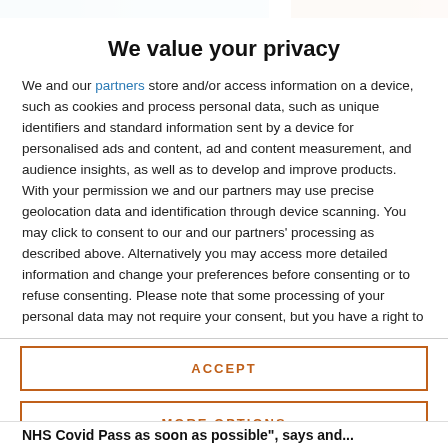[Figure (screenshot): Top navigation bar with blue and orange color strips visible at the top of the page]
We value your privacy
We and our partners store and/or access information on a device, such as cookies and process personal data, such as unique identifiers and standard information sent by a device for personalised ads and content, ad and content measurement, and audience insights, as well as to develop and improve products. With your permission we and our partners may use precise geolocation data and identification through device scanning. You may click to consent to our and our partners' processing as described above. Alternatively you may access more detailed information and change your preferences before consenting or to refuse consenting. Please note that some processing of your personal data may not require your consent, but you have a right to
ACCEPT
MORE OPTIONS
NHS Covid Pass as soon as possible", says and...